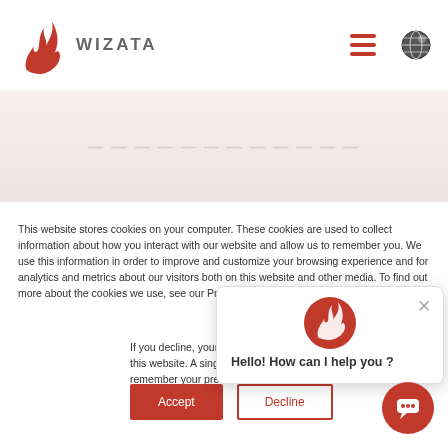[Figure (logo): Wizata logo with orange flame W icon and WIZATA wordmark]
[Figure (screenshot): Wizata website header with navigation hamburger menu and globe icon]
[Figure (screenshot): Hero/banner area with light beige background and faded text]
This website stores cookies on your computer. These cookies are used to collect information about how you interact with our website and allow us to remember you. We use this information in order to improve and customize your browsing experience and for analytics and metrics about our visitors both on this website and other media. To find out more about the cookies we use, see our Privacy Policy.
If you decline, your information won't be tracked when you visit this website. A single cookie will be used in your browser to remember your preference not to be tracked.
[Figure (screenshot): Chat popup widget with Wizata logo and 'Hello! How can I help you?' message and X close button]
[Figure (screenshot): Orange circular chat bubble button in bottom right corner]